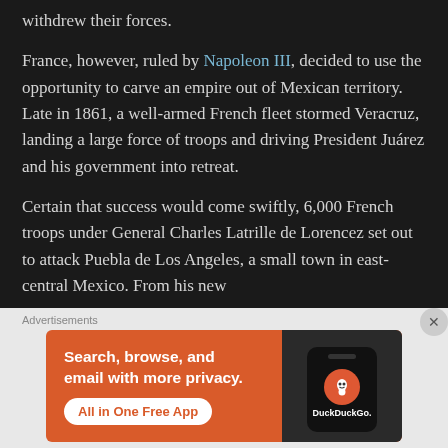withdrew their forces.
France, however, ruled by Napoleon III, decided to use the opportunity to carve an empire out of Mexican territory. Late in 1861, a well-armed French fleet stormed Veracruz, landing a large force of troops and driving President Juárez and his government into retreat.
Certain that success would come swiftly, 6,000 French troops under General Charles Latrille de Lorencez set out to attack Puebla de Los Angeles, a small town in east-central Mexico. From his new
[Figure (infographic): DuckDuckGo advertisement banner with orange background. Text reads: Search, browse, and email with more privacy. All in One Free App. Shows a smartphone with DuckDuckGo logo.]